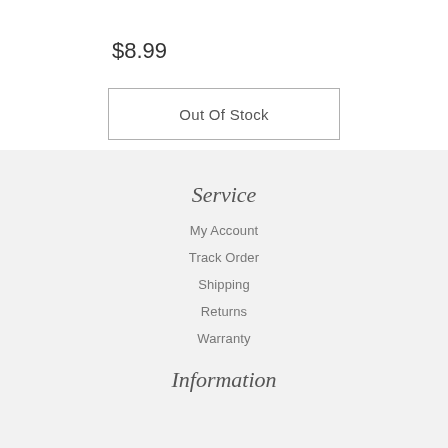$8.99
Out Of Stock
Service
My Account
Track Order
Shipping
Returns
Warranty
Information